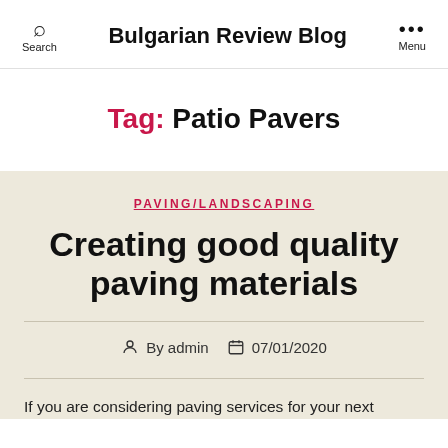Bulgarian Review Blog
Tag: Patio Pavers
PAVING/LANDSCAPING
Creating good quality paving materials
By admin  07/01/2020
If you are considering paving services for your next